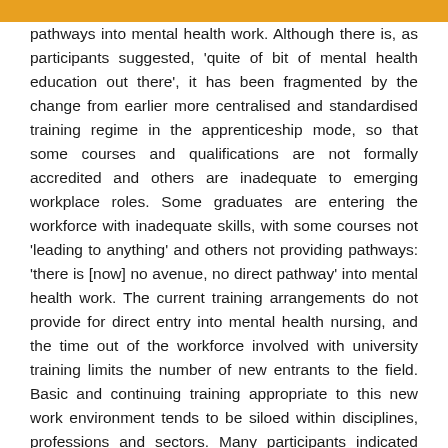pathways into mental health work. Although there is, as participants suggested, 'quite of bit of mental health education out there', it has been fragmented by the change from earlier more centralised and standardised training regime in the apprenticeship mode, so that some courses and qualifications are not formally accredited and others are inadequate to emerging workplace roles. Some graduates are entering the workforce with inadequate skills, with some courses not 'leading to anything' and others not providing pathways: 'there is [now] no avenue, no direct pathway' into mental health work. The current training arrangements do not provide for direct entry into mental health nursing, and the time out of the workforce involved with university training limits the number of new entrants to the field. Basic and continuing training appropriate to this new work environment tends to be siloed within disciplines, professions and sectors. Many participants indicated that the funding available to